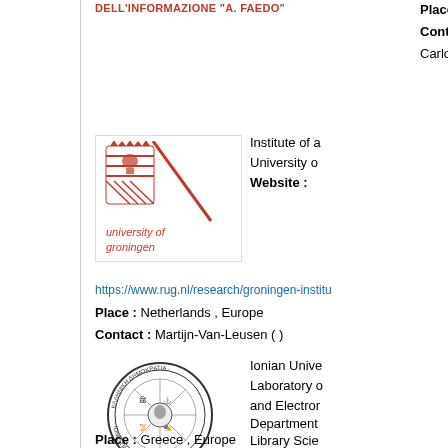DELL'INFORMAZIONE "A. FAEDO"
Place : Italy , E
Contact :
Carlo-Meghini (
[Figure (logo): University of Groningen logo with red crest and diagonal red line, text 'university of groningen' in red]
Institute of a University o Website :
https://www.rug.nl/research/groningen-institu
Place : Netherlands , Europe
Contact : Martijn-Van-Leusen ( )
[Figure (logo): Circular seal of Ionian University Greece with Greek text ΕΛΛΗΝΙΚΗ ΔΗΜΟΚΡΑΤΙΑ and ΙΟΝΙΟ ΠΑΝΕΠΙΣΤΗΜΙΟ 1984]
Ionian Unive Laboratory o and Electron Department Library Scie Website : http://www.ion
Place : Greece , Europe